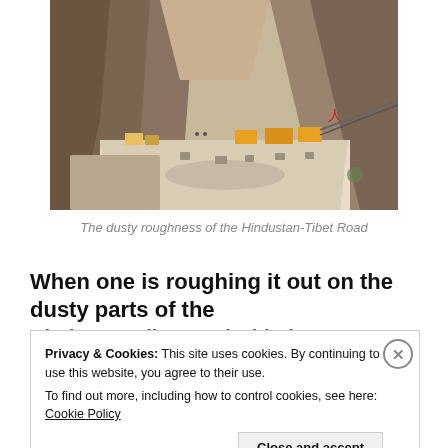[Figure (photo): Photograph showing the dusty roughness of the Hindustan-Tibet Road — a narrow mountain road carved into steep rocky cliffs, with construction vehicles and trucks visible on the road, and a muddy/sandy foreground.]
The dusty roughness of the Hindustan-Tibet Road
When one is roughing it out on the dusty parts of the Hindustan-Tibet road with the…
Privacy & Cookies: This site uses cookies. By continuing to use this website, you agree to their use.
To find out more, including how to control cookies, see here: Cookie Policy
Close and accept